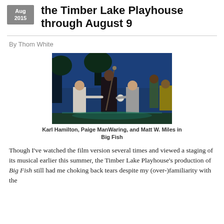the Timber Lake Playhouse through August 9
By Thom White
[Figure (photo): Stage performance photo showing Karl Hamilton, Paige ManWaring, and Matt W. Miles in Big Fish. Three actors on stage, one in dark robes holding a staff, two others facing them, with theatrical blue lighting and set backdrop.]
Karl Hamilton, Paige ManWaring, and Matt W. Miles in Big Fish
Though I've watched the film version several times and viewed a staging of its musical earlier this summer, the Timber Lake Playhouse's production of Big Fish still had me choking back tears despite my (over-)familiarity with the